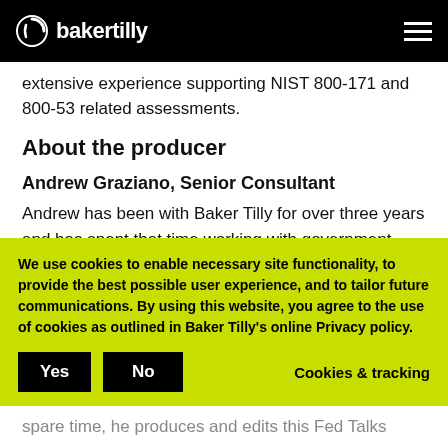bakertilly
extensive experience supporting NIST 800-171 and 800-53 related assessments.
About the producer
Andrew Graziano, Senior Consultant
Andrew has been with Baker Tilly for over three years and has spent that time working with government contractors on a wide variety of
We use cookies to enable necessary site functionality, to provide the best possible user experience, and to tailor future communications. By using this website, you agree to the use of cookies as outlined in Baker Tilly's online Privacy policy.
spare time, he produces and edits this Fed Talks